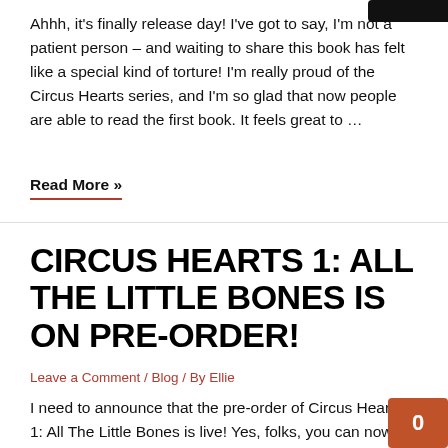Ahhh, it's finally release day! I've got to say, I'm not a patient person – and waiting to share this book has felt like a special kind of torture! I'm really proud of the Circus Hearts series, and I'm so glad that now people are able to read the first book. It feels great to …
Read More »
CIRCUS HEARTS 1: ALL THE LITTLE BONES IS ON PRE-ORDER!
Leave a Comment / Blog / By Ellie
I need to announce that the pre-order of Circus Hearts 1: All The Little Bones is live! Yes, folks, you can now pre-order the ebook. Go forth and do that right here (but keep a pic of your receipts!): Amazon US Amazon UK Amazon AU iBooks B&N Nook Kobo   Pre-ordering means that the Circus …
Read More »